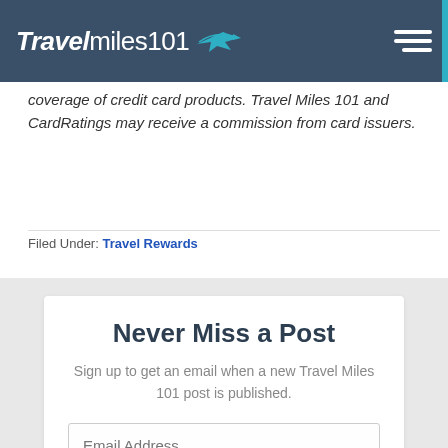Travel miles 101
coverage of credit card products. Travel Miles 101 and CardRatings may receive a commission from card issuers.
Filed Under: Travel Rewards
Never Miss a Post
Sign up to get an email when a new Travel Miles 101 post is published.
SUBSCRIBE